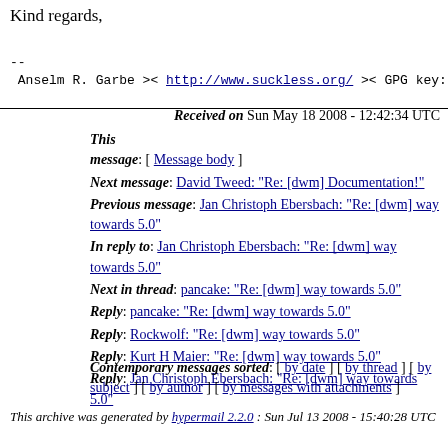Kind regards,
--
 Anselm R. Garbe >< http://www.suckless.org/ >< GPG key:
Received on Sun May 18 2008 - 12:42:34 UTC
This message: [ Message body ]
Next message: David Tweed: "Re: [dwm] Documentation!"
Previous message: Jan Christoph Ebersbach: "Re: [dwm] way towards 5.0"
In reply to: Jan Christoph Ebersbach: "Re: [dwm] way towards 5.0"
Next in thread: pancake: "Re: [dwm] way towards 5.0"
Reply: pancake: "Re: [dwm] way towards 5.0"
Reply: Rockwolf: "Re: [dwm] way towards 5.0"
Reply: Kurt H Maier: "Re: [dwm] way towards 5.0"
Reply: Jan Christoph Ebersbach: "Re: [dwm] way towards 5.0"
Contemporary messages sorted: [ by date ] [ by thread ] [ by subject ] [ by author ] [ by messages with attachments ]
This archive was generated by hypermail 2.2.0 : Sun Jul 13 2008 - 15:40:28 UTC